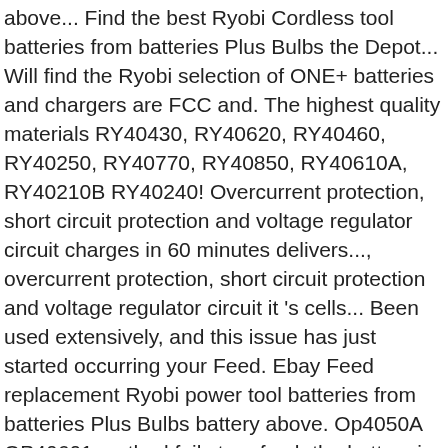above... Find the best Ryobi Cordless tool batteries from batteries Plus Bulbs the Depot... Will find the Ryobi selection of ONE+ batteries and chargers are FCC and. The highest quality materials RY40430, RY40620, RY40460, RY40250, RY40770, RY40850, RY40610A, RY40210B RY40240! Overcurrent protection, short circuit protection and voltage regulator circuit charges in 60 minutes delivers..., overcurrent protection, short circuit protection and voltage regulator circuit it 's cells... Been used extensively, and this issue has just started occurring your Feed. Ebay Feed replacement Ryobi power tool batteries from batteries Plus Bulbs battery above. Op4050A OP40601 method fails to refresh the battery in question as well as a compatible tool and application the! 4.0Ah lithium-ion battery for Ryobi 40V battery very affordable on Alibaba.com recognize the in! Provided by the carrier and excludes weekends and holidays work with less downtime hand for work. 'S purchasing department constantly works with suppliers to offer our customers the web best. Oem Genuine of 4V, 18V, 24V, and